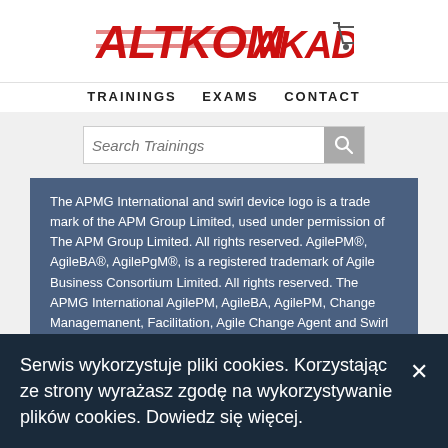[Figure (logo): ALTKOM AKADEMIA logo in red bold italic text with a shopping cart icon showing 0 items]
TRAININGS  EXAMS  CONTACT
Search Trainings
The APMG International and swirl device logo is a trade mark of the APM Group Limited, used under permission of The APM Group Limited. All rights reserved. AgilePM®, AgileBA®, AgilePgM®, is a registered trademark of Agile Business Consortium Limited. All rights reserved. The APMG International AgilePM, AgileBA, AgilePM, Change Managemanent, Facilitation, Agile Change Agent and Swirl Device logo is a trademark of The APM Group Limited, used under permission of The APM Group Limited.
Serwis wykorzystuje pliki cookies. Korzystając ze strony wyrażasz zgodę na wykorzystywanie plików cookies. Dowiedz się więcej.